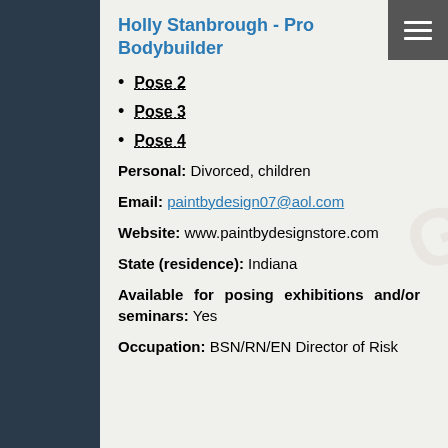Holly Stanbrough - Pro Bodybuilder
Pose 2
Pose 3
Pose 4
Personal: Divorced, children
Email: paintbydesign07@aol.com
Website: www.paintbydesignstore.com
State (residence): Indiana
Available for posing exhibitions and/or seminars: Yes
Occupation: BSN/RN/EN Director of Risk